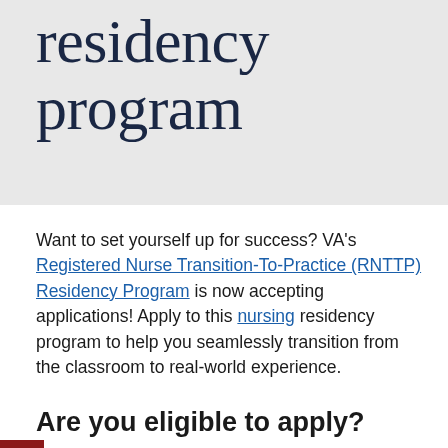residency program
Want to set yourself up for success? VA's Registered Nurse Transition-To-Practice (RNTTP) Residency Program is now accepting applications! Apply to this nursing residency program to help you seamlessly transition from the classroom to real-world experience.
Are you eligible to apply?